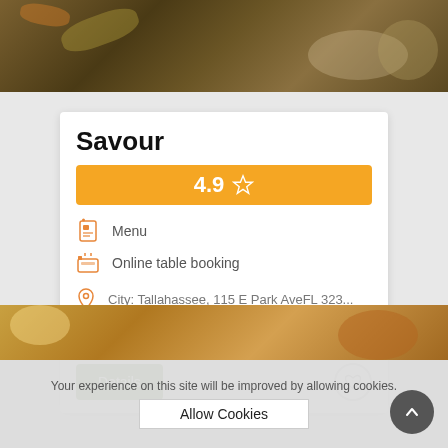[Figure (photo): Top food photo with dark brown tones showing various dishes]
Savour
[Figure (infographic): Yellow rating bar showing 4.9 with a star icon]
Menu
Online table booking
City: Tallahassee, 115 E Park AveFL 323...
Reservations can be done for this Premi...
Details
[Figure (photo): Bottom food photo with golden/orange tones]
Your experience on this site will be improved by allowing cookies.
Allow Cookies